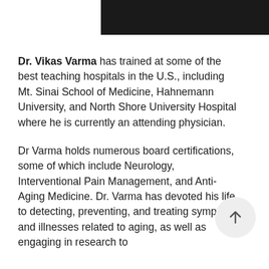[Figure (photo): Partial photo strip of a person, dark background, cropped at top]
Dr. Vikas Varma has trained at some of the best teaching hospitals in the U.S., including Mt. Sinai School of Medicine, Hahnemann University, and North Shore University Hospital where he is currently an attending physician.
Dr Varma holds numerous board certifications, some of which include Neurology, Interventional Pain Management, and Anti-Aging Medicine. Dr. Varma has devoted his life to detecting, preventing, and treating symptoms and illnesses related to aging, as well as engaging in research to